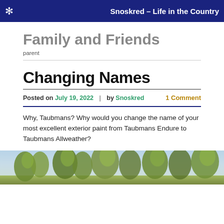✻  Snoskred – Life in the Country
Family and Friends
parent
Changing Names
Posted on July 19, 2022 | by Snoskred    1 Comment
Why, Taubmans? Why would you change the name of your most excellent exterior paint from Taubmans Endure to Taubmans Allweather?
[Figure (photo): Outdoor photo showing trees with foliage in natural setting]